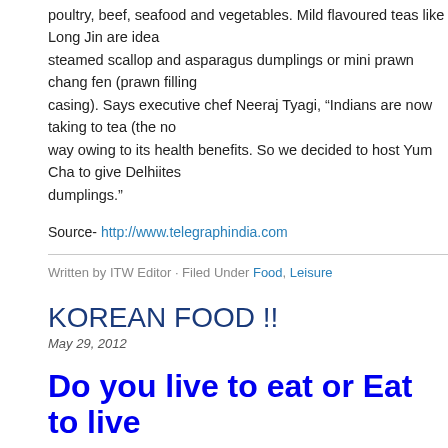poultry, beef, seafood and vegetables. Mild flavoured teas like Long Jin are ideal steamed scallop and asparagus dumplings or mini prawn chang fen (prawn filling casing). Says executive chef Neeraj Tyagi, "Indians are now taking to tea (the no way owing to its health benefits. So we decided to host Yum Cha to give Delhiites dumplings."
Source- http://www.telegraphindia.com
Written by ITW Editor · Filed Under Food, Leisure
KOREAN FOOD !!
May 29, 2012
Do you live to eat or Eat to live
Well I am certainly the former kind and not the latter. Life in the highway business on different highways in India to ones in trying different cuisines in different count. During one my recent travels to Korea I had the pleasure of enjoying the mouth w